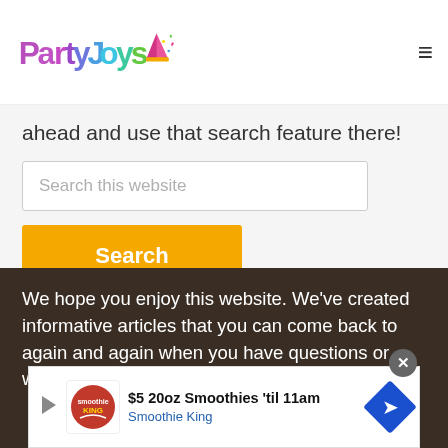PartyJoys [logo with party hat icon]
ahead and use that search feature there!
[Figure (screenshot): Search input box with placeholder text 'Search this website']
[Figure (screenshot): Orange Search button]
We hope you enjoy this website. We've created informative articles that you can come back to again and again when you have questions or want to learn more!
[Figure (screenshot): Advertisement banner: $5 20oz Smoothies 'til 11am - Smoothie King, with close (X) button]